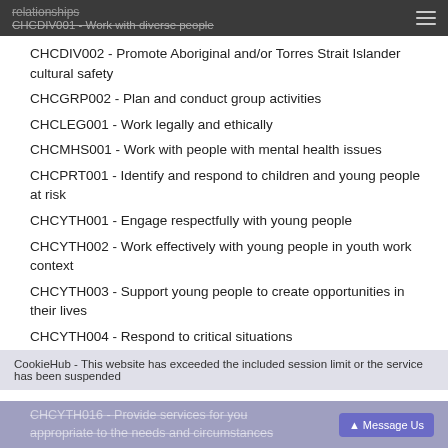relationships
CHCDIV001 - Work with diverse people
CHCDIV002 - Promote Aboriginal and/or Torres Strait Islander cultural safety
CHCGRP002 - Plan and conduct group activities
CHCLEG001 - Work legally and ethically
CHCMHS001 - Work with people with mental health issues
CHCPRT001 - Identify and respond to children and young people at risk
CHCYTH001 - Engage respectfully with young people
CHCYTH002 - Work effectively with young people in youth work context
CHCYTH003 - Support young people to create opportunities in their lives
CHCYTH004 - Respond to critical situations
CHCYTH016 - Provide services for you appropriate to the needs and circumstances
HLTWHS001 - Participate in workplace health and
CookieHub - This website has exceeded the included session limit or the service has been suspended